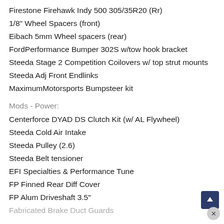Firestone Firehawk Indy 500 305/35R20 (Rr)
1/8" Wheel Spacers (front)
Eibach 5mm Wheel spacers (rear)
FordPerformance Bumper 302S w/tow hook bracket
Steeda Stage 2 Competition Coilovers w/ top strut mounts
Steeda Adj Front Endlinks
MaximumMotorsports Bumpsteer kit
Mods - Power:
Centerforce DYAD DS Clutch Kit (w/ AL Flywheel)
Steeda Cold Air Intake
Steeda Pulley (2.6)
Steeda Belt tensioner
EFI Specialties & Performance Tune
FP Finned Rear Diff Cover
FP Alum Driveshaft 3.5"
Fabricated Brake Duct Guards
Mods - Exterior: